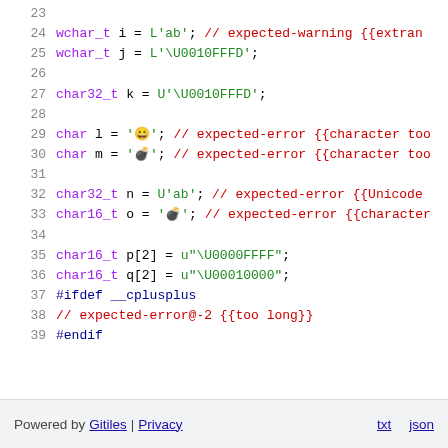[Figure (screenshot): Code viewer showing C/C++ source lines 23-39 with syntax highlighting. Lines show wchar_t, char32_t, char16_t declarations with unicode character literals and preprocessor directives. Red comments show expected-error and expected-warning annotations.]
Powered by Gitiles | Privacy   txt  json